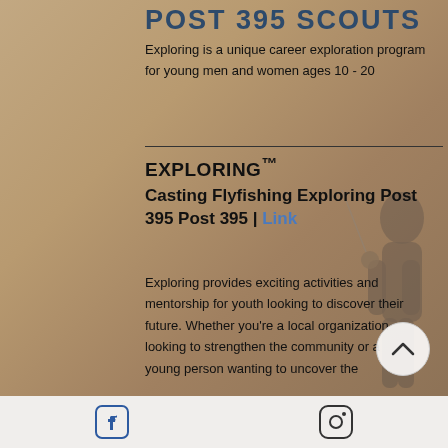POST 395 SCOUTS
Exploring is a unique career exploration program for young men and women ages 10 - 20
EXPLORING™
Casting Flyfishing Exploring Post 395 Post 395 | Link
Exploring provides exciting activities and mentorship for youth looking to discover their future. Whether you're a local organization looking to strengthen the community or a young person wanting to uncover the
[Figure (illustration): Silhouette of a person fly fishing against a rocky desert background]
Facebook icon | Instagram icon